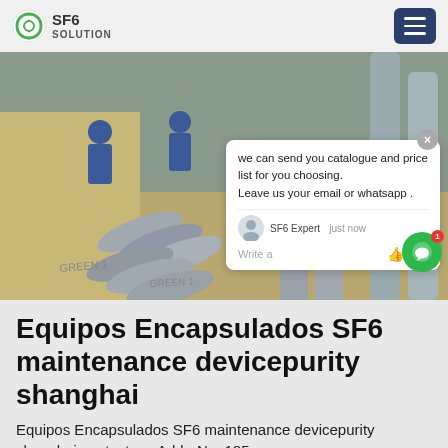SF6 SOLUTION
[Figure (photo): Two workers in blue uniforms handling multiple gray SF6 gas cylinders laid on the ground outdoors. A chat popup overlay is visible on the right side of the photo with a message: 'we can send you catalogue and price list for you choosing. Leave us your email or whatsapp .' attributed to SF6 Expert.]
Equipos Encapsulados SF6 maintenance devicepurity shanghai
Equipos Encapsulados SF6 maintenance devicepurity shanghai contact us. Addr: No. 185